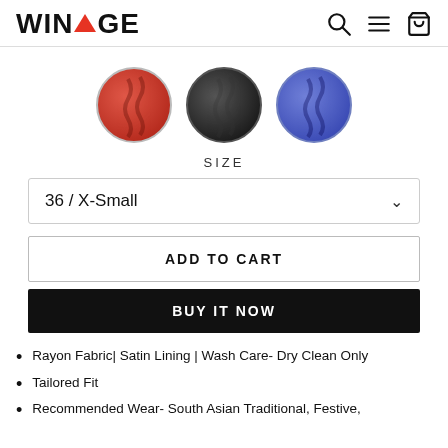WINTAGE
[Figure (photo): Three circular color swatches showing red, black, and blue fabric options]
SIZE
36 / X-Small
ADD TO CART
BUY IT NOW
Rayon Fabric| Satin Lining | Wash Care- Dry Clean Only
Tailored Fit
Recommended Wear- South Asian Traditional, Festive,